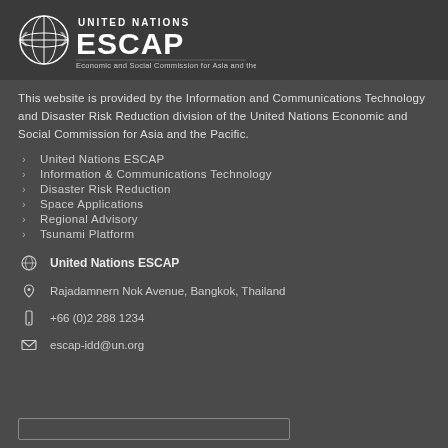[Figure (logo): United Nations ESCAP logo — globe emblem with 'UNITED NATIONS ESCAP' text and subtitle 'Economic and Social Commission for Asia and the Pacific']
This website is provided by the Information and Communications Technology and Disaster Risk Reduction division of the United Nations Economic and Social Commission for Asia and the Pacific.
United Nations ESCAP
Information & Communications Technology
Disaster Risk Reduction
Space Applications
Regional Advisory
Tsunami Platform
United Nations ESCAP
Rajadamnern Nok Avenue, Bangkok, Thailand
+66 (0)2 288 1234
escap-idd@un.org